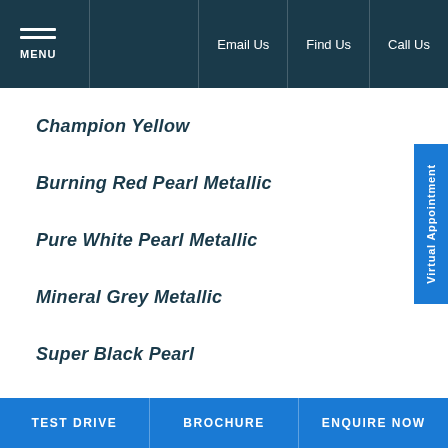MENU | Email Us | Find Us | Call Us
Champion Yellow
Burning Red Pearl Metallic
Pure White Pearl Metallic
Mineral Grey Metallic
Super Black Pearl
Speedy Blue / Black
TEST DRIVE | BROCHURE | ENQUIRE NOW